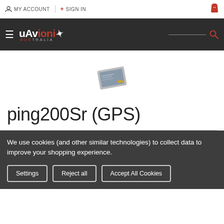MY ACCOUNT   + SIGN IN
[Figure (logo): uAvionik Australia logo with hamburger menu and search icon on dark header bar]
[Figure (photo): Small electronic device - ping200Sr GPS transponder module]
ping200Sr (GPS)
We use cookies (and other similar technologies) to collect data to improve your shopping experience.
Settings
Reject all
Accept All Cookies